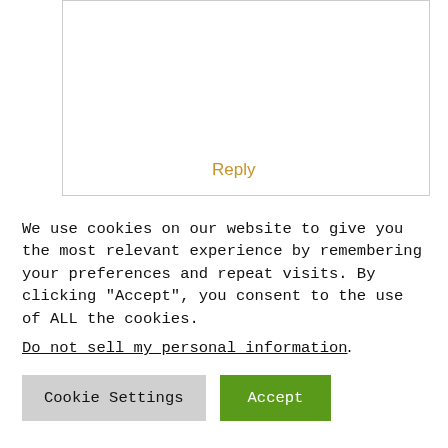Reply
Leave A Comment
We use cookies on our website to give you the most relevant experience by remembering your preferences and repeat visits. By clicking “Accept”, you consent to the use of ALL the cookies.
Do not sell my personal information.